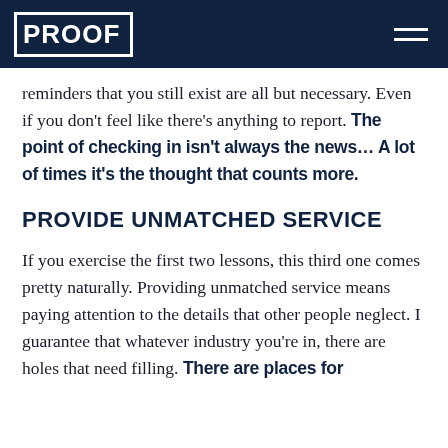PROOF
reminders that you still exist are all but necessary. Even if you don't feel like there's anything to report. The point of checking in isn't always the news… A lot of times it's the thought that counts more.
PROVIDE UNMATCHED SERVICE
If you exercise the first two lessons, this third one comes pretty naturally. Providing unmatched service means paying attention to the details that other people neglect. I guarantee that whatever industry you're in, there are holes that need filling. There are places for